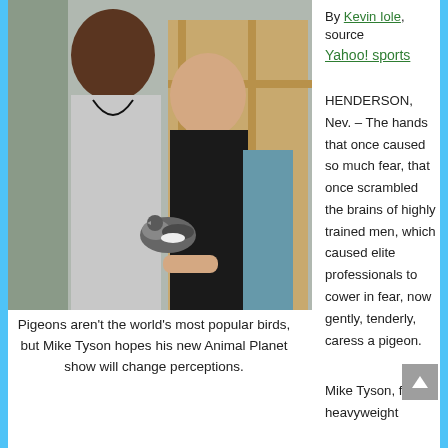[Figure (photo): Two men, one tall Black man in a grey top holding a pigeon, and a shorter man in a black shirt, standing near a wooden structure outdoors.]
Pigeons aren't the world's most popular birds, but Mike Tyson hopes his new Animal Planet show will change perceptions.
By Kevin Iole, source Yahoo! sports
HENDERSON, Nev. – The hands that once caused so much fear, that once scrambled the brains of highly trained men, which caused elite professionals to cower in fear, now gently, tenderly, caress a pigeon.
Mike Tyson, former heavyweight